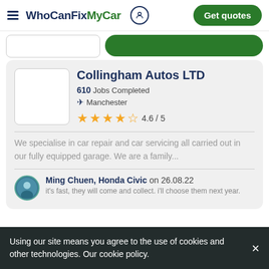WhoCanFixMyCar — Get quotes
Collingham Autos LTD
610 Jobs Completed
Manchester
4.6 / 5
We specialise in car repair and car servicing all carried out in our fully equipped garage. We are a family...
Ming Chuen, Honda Civic on 26.08.22
it's fast, they will come and collect. i'll choose them next year.
Using our site means you agree to the use of cookies and other technologies. Our cookie policy.